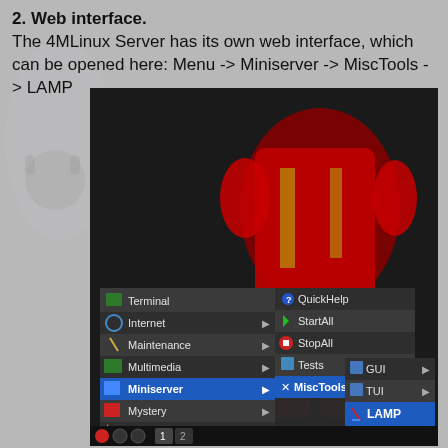2. Web interface.
The 4MLinux Server has its own web interface, which can be opened here: Menu -> Miniserver -> MiscTools -> LAMP
[Figure (screenshot): Screenshot of 4MLinux desktop showing a context menu with items: Terminal, Internet, Maintenance, Multimedia, Miniserver (highlighted in blue, expanded), Mystery, Extensions, 4MLinux, Settings, Devel, PowerOff, Reboot, LockScreen, ReloadJWM, ExitJWM. Miniserver submenu shows: QuickHelp, StartAll, StopAll, Tests, MiscTools (expanded). MiscTools submenu shows: GUI, TUI, LAMP (highlighted in blue). Background shows an Iron Man figure. Bottom taskbar shows system tray icons, '1' and '2' buttons.]